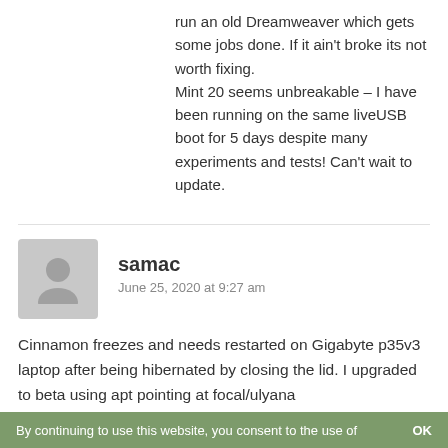run an old Dreamweaver which gets some jobs done. If it ain't broke its not worth fixing.
Mint 20 seems unbreakable – I have been running on the same liveUSB boot for 5 days despite many experiments and tests! Can't wait to update.
samac
June 25, 2020 at 9:27 am
Cinnamon freezes and needs restarted on Gigabyte p35v3 laptop after being hibernated by closing the lid. I upgraded to beta using apt pointing at focal/ulyana
By continuing to use this website, you consent to the use of   OK